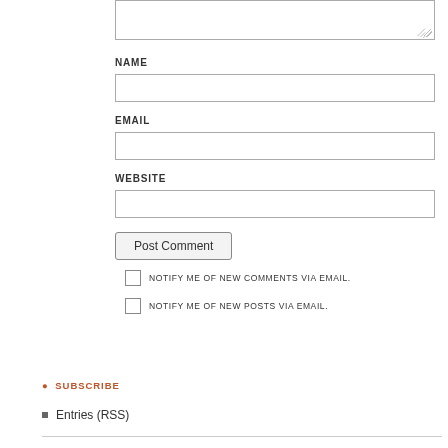[Figure (screenshot): Text area input box (partial, top of page) with resize handle]
NAME
[Figure (screenshot): Name input field (text box)]
EMAIL
[Figure (screenshot): Email input field (text box)]
WEBSITE
[Figure (screenshot): Website input field (text box)]
Post Comment
NOTIFY ME OF NEW COMMENTS VIA EMAIL.
NOTIFY ME OF NEW POSTS VIA EMAIL.
SUBSCRIBE
Entries (RSS)